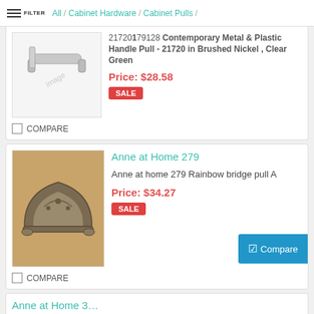FILTER / All / Cabinet Hardware / Cabinet Pulls /
[Figure (photo): Contemporary metal and plastic handle pull in brushed nickel/clear green finish, partially visible]
21720 Contemporary Metal & Plastic Handle Pull - 21720 in Brushed Nickel , Clear Green
Price: $28.58
SALE
COMPARE
Anne at Home 279
[Figure (photo): Anne at Home 279 Rainbow bridge pull A - antique bronze/pewter half-moon shaped cabinet cup pull on tan background]
Anne at home 279 Rainbow bridge pull A
Price: $34.27
SALE
COMPARE
Compare
Anne at Home 3...